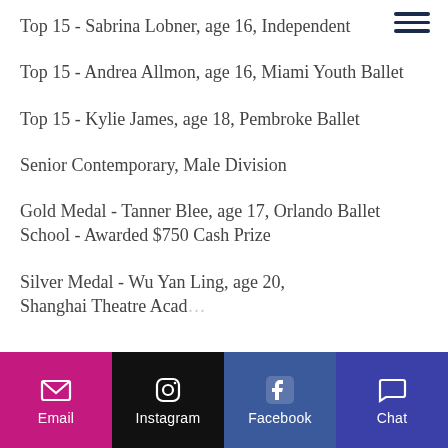Top 15 - Sabrina Lobner, age 16, Independent
Top 15 - Andrea Allmon, age 16, Miami Youth Ballet
Top 15 - Kylie James, age 18, Pembroke Ballet
Senior Contemporary, Male Division
Gold Medal - Tanner Blee, age 17, Orlando Ballet School - Awarded $750 Cash Prize
Silver Medal - Wu Yan Ling, age 20, Shanghai Theatre Academy
Email | Instagram | Facebook | Chat